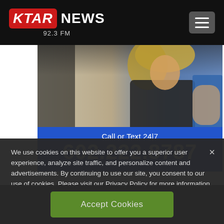KTAR NEWS 92.3 FM
[Figure (photo): Photo of a woman with blonde hair wearing a dark outfit, partially visible, used as a background image for a radio station advertisement]
Call or Text 24|7
602.222.8787
We use cookies on this website to offer you a superior user experience, analyze site traffic, and personalize content and advertisements. By continuing to use our site, you consent to our use of cookies. Please visit our Privacy Policy for more information.
Accept Cookies